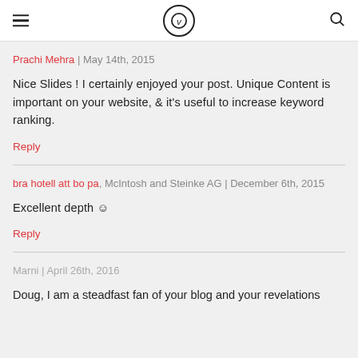V (logo) with hamburger menu and search icon
Prachi Mehra | May 14th, 2015
Nice Slides ! I certainly enjoyed your post. Unique Content is important on your website, & it's useful to increase keyword ranking.
Reply
bra hotell att bo pa, McIntosh and Steinke AG | December 6th, 2015
Excellent depth ☺
Reply
Marni | April 26th, 2016
Doug, I am a steadfast fan of your blog and your revelations